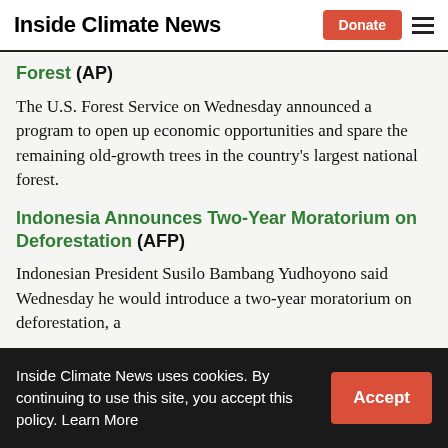Inside Climate News
Forest (AP)
The U.S. Forest Service on Wednesday announced a program to open up economic opportunities and spare the remaining old-growth trees in the country's largest national forest.
Indonesia Announces Two-Year Moratorium on Deforestation (AFP)
Indonesian President Susilo Bambang Yudhoyono said Wednesday he would introduce a two-year moratorium on deforestation, a
Inside Climate News uses cookies. By continuing to use this site, you accept this policy. Learn More